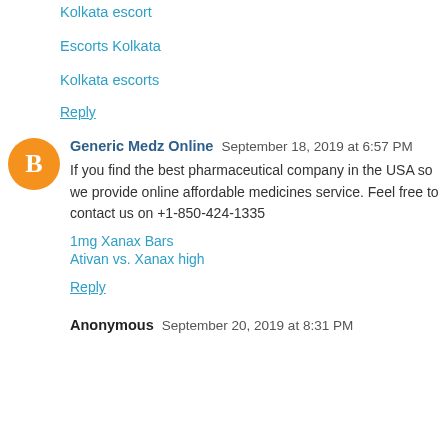Kolkata escort
Escorts Kolkata
Kolkata escorts
Reply
Generic Medz Online  September 18, 2019 at 6:57 PM
If you find the best pharmaceutical company in the USA so we provide online affordable medicines service. Feel free to contact us on +1-850-424-1335
1mg Xanax Bars
Ativan vs. Xanax high
Reply
Anonymous  September 20, 2019 at 8:31 PM